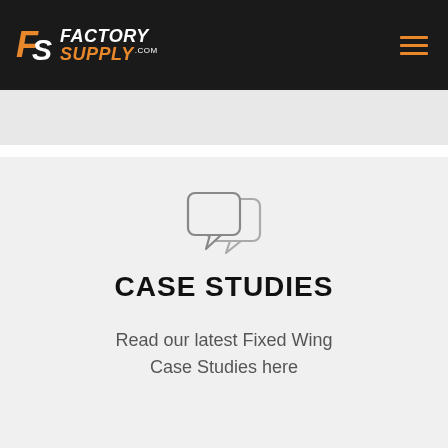[Figure (logo): Factory Supply .com logo with FS letters in orange/white and hamburger menu icon]
[Figure (illustration): Two speech bubble / chat bubble icons in outline style, light gray]
CASE STUDIES
Read our latest Fixed Wing Case Studies here